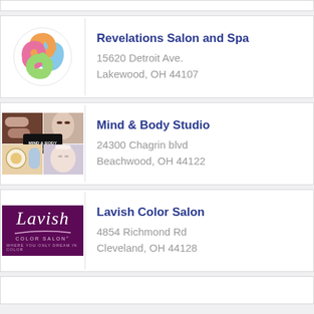Revelations Salon and Spa
15620 Detroit Ave.
Lakewood, OH 44107
Mind & Body Studio
24300 Chagrin blvd
Beachwood, OH 44122
Lavish Color Salon
4854 Richmond Rd
Cleveland, OH 44128